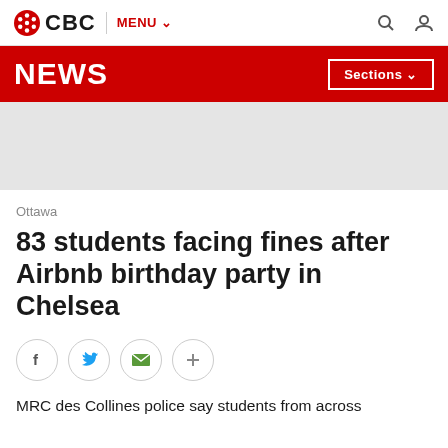CBC | MENU
NEWS | Sections
[Figure (other): Gray advertisement/placeholder area]
Ottawa
83 students facing fines after Airbnb birthday party in Chelsea
[Figure (other): Social share buttons: Facebook, Twitter, Email, More]
MRC des Collines police say students from across